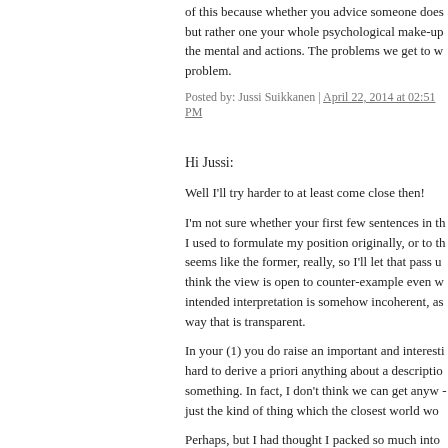of this because whether you advice someone does but rather one your whole psychological make-up the mental and actions. The problems we get to w problem.
Posted by: Jussi Suikkanen | April 22, 2014 at 02:51 PM
Hi Jussi:
Well I'll try harder to at least come close then!
I'm not sure whether your first few sentences in th I used to formulate my position originally, or to th seems like the former, really, so I'll let that pass u think the view is open to counter-example even w intended interpretation is somehow incoherent, as way that is transparent.
In your (1) you do raise an important and interesti hard to derive a priori anything about a descriptio something. In fact, I don't think we can get anyw - just the kind of thing which the closest world wo
Perhaps, but I had thought I packed so much into think it is a priori true that anyone who intends to ing in C is thereby hypocritical. I also think that i rationally commit them to Φ in C but who intends priori theses make me cautiously optimistic that th